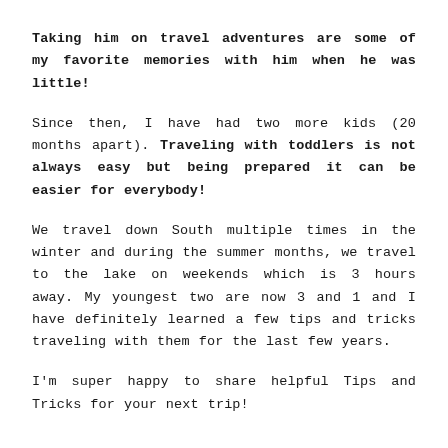Taking him on travel adventures are some of my favorite memories with him when he was little!
Since then, I have had two more kids (20 months apart). Traveling with toddlers is not always easy but being prepared it can be easier for everybody!
We travel down South multiple times in the winter and during the summer months, we travel to the lake on weekends which is 3 hours away. My youngest two are now 3 and 1 and I have definitely learned a few tips and tricks traveling with them for the last few years.
I'm super happy to share helpful Tips and Tricks for your next trip!